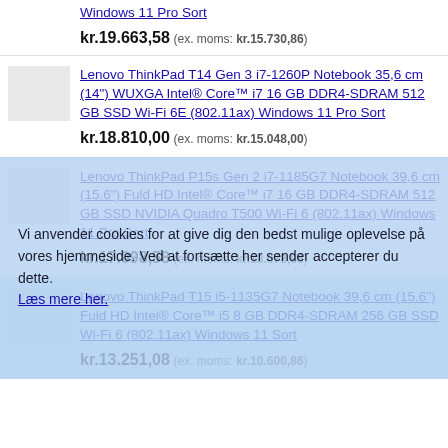Windows 11 Pro Sort
kr.19.663,58 (ex. moms: kr.15.730,86)
Lenovo ThinkPad T14 Gen 3 i7-1260P Notebook 35,6 cm (14") WUXGA Intel® Core™ i7 16 GB DDR4-SDRAM 512 GB SSD Wi-Fi 6E (802.11ax) Windows 11 Pro Sort
kr.18.810,00 (ex. moms: kr.15.048,00)
Lenovo ThinkPad P15s Gen 2 i7-1185G7 Notebook 39,6 cm (15.6") Fuld HD Intel® Core™ i7 16 GB DDR4-SDRAM 512 GB SSD NVIDIA Quadro T500 Wi-Fi 6 (802.11ax) Windows 11 Pro Sort
kr.17.098,58 (ex. moms: kr.13.678,86)
Vi anvender cookies for at give dig den bedst mulige oplevelse på vores hjemmeside. Ved at fortsætte her sender accepterer du dette. Læs mere her.
Lenovo ThinkPad T15 i5-1135G7 Notebook 39,6 cm (15.6") Fuld HD Intel® Core™ i5 8 GB DDR4-SDRAM 256 GB SSD Wi-Fi 6 (802.11ax) Windows 11 Sort
kr.13.251,08 (ex. moms: kr.10.600,86)